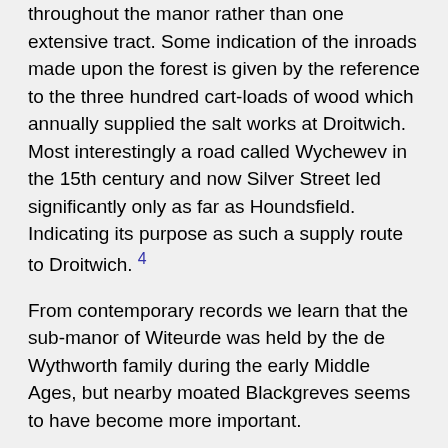throughout the manor rather than one extensive tract. Some indication of the inroads made upon the forest is given by the reference to the three hundred cart-loads of wood which annually supplied the salt works at Droitwich. Most interestingly a road called Wychewev in the 15th century and now Silver Street led significantly only as far as Houndsfield. Indicating its purpose as such a supply route to Droitwich. 4
From contemporary records we learn that the sub-manor of Witeurde was held by the de Wythworth family during the early Middle Ages, but nearby moated Blackgreves seems to have become more important.
Wythwood may have been treated as a separate manor at one time and was held by the de Wythworth family. At his death in 1517 it was recorded that William Sheldon held Wythworth for the Queen, who was the manorial lord of Kings Norton. He bequeathed it to his brother Ralph. In 1633 the manor and its watermill, known as called Kilcupps Mill, was sold by William and Martha Cowper to William Chambers, being sold on in 1711 by Thomas and Edward Chambers to John Holmden. Henry Beighton's 1725 Map of Warwickshire shows it between Mill Lane and Tanners